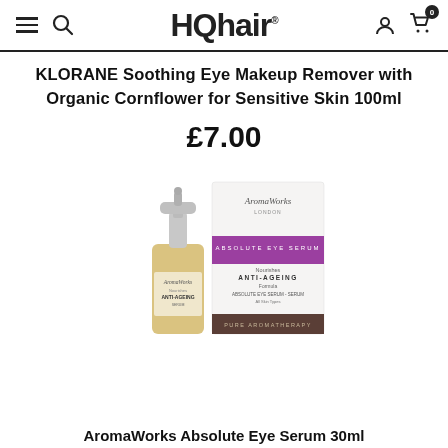HQhair
KLORANE Soothing Eye Makeup Remover with Organic Cornflower for Sensitive Skin 100ml
£7.00
[Figure (photo): AromaWorks anti-aging absolute eye serum product bottle and box packaging on white background]
AromaWorks Absolute Eye Serum 30ml